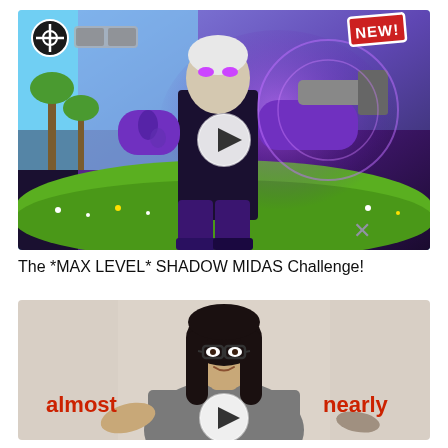[Figure (screenshot): YouTube video thumbnail for Fortnite Shadow Midas challenge. Dark purple/violet character in suit with glowing eyes holding weapons, green grass background with palm trees, white play button circle in center, 'NEW!' red badge top right, crosshair icon top left, blurred view count next to crosshair.]
The *MAX LEVEL* SHADOW MIDAS Challenge!
[Figure (screenshot): YouTube video thumbnail showing a woman with dark hair and glasses gesturing with both hands open, beige/tan background. Red text 'almost' on the left and 'nearly' on the right. White play button circle at center bottom.]